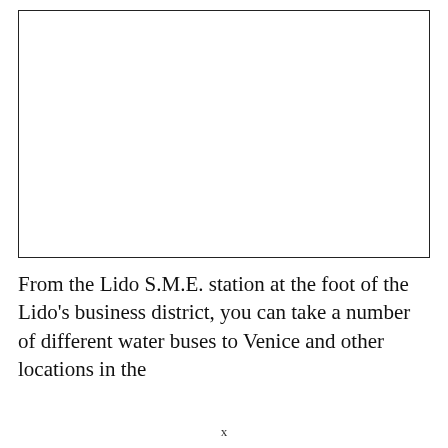[Figure (photo): A blank/white image placeholder box with a thin border, representing a photograph or illustration that is not visible in this rendering.]
From the Lido S.M.E. station at the foot of the Lido's business district, you can take a number of different water buses to Venice and other locations in the
x